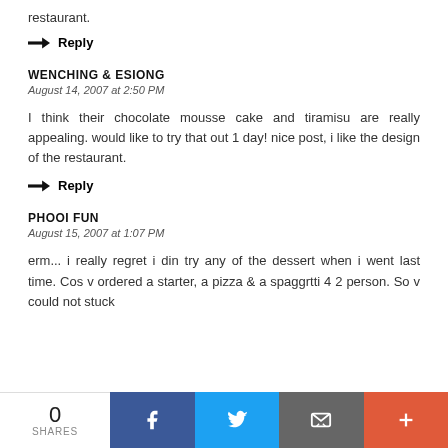restaurant.
→ Reply
WENCHING & ESIONG
August 14, 2007 at 2:50 PM
I think their chocolate mousse cake and tiramisu are really appealing. would like to try that out 1 day! nice post, i like the design of the restaurant.
→ Reply
PHOOI FUN
August 15, 2007 at 1:07 PM
erm... i really regret i din try any of the dessert when i went last time. Cos v ordered a starter, a pizza & a spaggrtti 4 2 person. So v could not stuck
0 SHARES